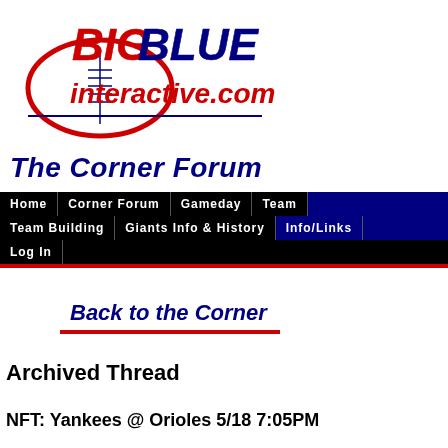[Figure (logo): Big Blue Interactive logo with football graphic, 'BIG BLUE' in red/blue bold italic text and 'interactive.com' in red italic text on a blue ellipse]
The Corner Forum
Home | Corner Forum | Gameday | Team | Team Building | Giants Info & History | Info/Links | Log In
[Figure (other): Back to the Corner button with red underline]
Archived Thread
NFT: Yankees @ Orioles 5/18 7:05PM